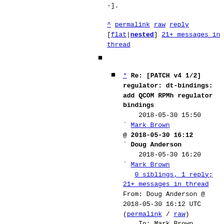-].
^ permalink raw reply [flat|nested] 21+ messages in thread
* Re: [PATCH v4 1/2] regulator: dt-bindings: add QCOM RPMh regulator bindings
2018-05-30 15:50
` Mark Brown
@ 2018-05-30 16:12
` Doug Anderson
2018-05-30 16:20
` Mark Brown
0 siblings, 1 reply; 21+ messages in thread
From: Doug Anderson @ 2018-05-30 16:12 UTC (permalink / raw)
To: Mark Brown
Cc: David Collins, Liam Girdwood, Rob Herring, Mark Rutland, linux-arm-msm, Linux ARM, devicetree, LKML, Rajendra Nayak,